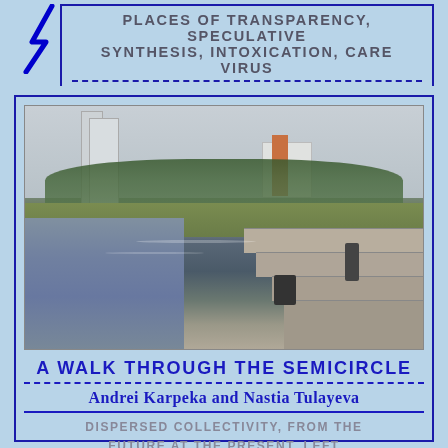PLACES OF TRANSPARENCY, SPECULATIVE SYNTHESIS, INTOXICATION, CARE VIRUS
[Figure (photo): Outdoor urban scene with a river or water channel, concrete stepped embankment, two people standing/crouching on steps, trees and modern buildings in background under overcast sky]
A WALK THROUGH THE SEMICIRCLE
Andrei Karpeka and Nastia Tulayeva
DISPERSED COLLECTIVITY, FROM THE FUTURE AT THE PRESENT, LEFT MELANCHOLY, PLACES OF TRANSPARENCY,